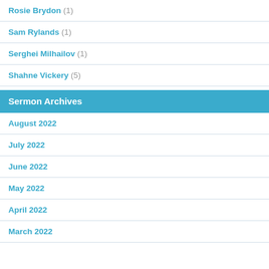Rosie Brydon (1)
Sam Rylands (1)
Serghei Milhailov (1)
Shahne Vickery (5)
Sermon Archives
August 2022
July 2022
June 2022
May 2022
April 2022
March 2022